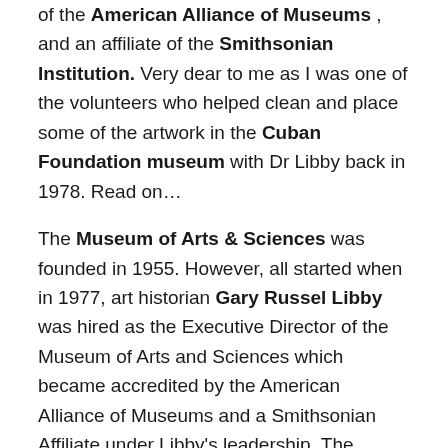of the American Alliance of Museums , and an affiliate of the Smithsonian Institution. Very dear to me as I was one of the volunteers who helped clean and place some of the artwork in the Cuban Foundation museum with Dr Libby back in 1978. Read on…
The Museum of Arts & Sciences was founded in 1955. However, all started when in 1977, art historian Gary Russel Libby was hired as the Executive Director of the Museum of Arts and Sciences which became accredited by the American Alliance of Museums and a Smithsonian Affiliate under Libby's leadership. The Museum grew from one location of 7,000 sq. ft. to 120,000 sq. ft. with three different locations. During his time as director, Libby organized and led the first international museum travel program in Florida. This annual program introduced cultural treasures in Mexico, Central America, South